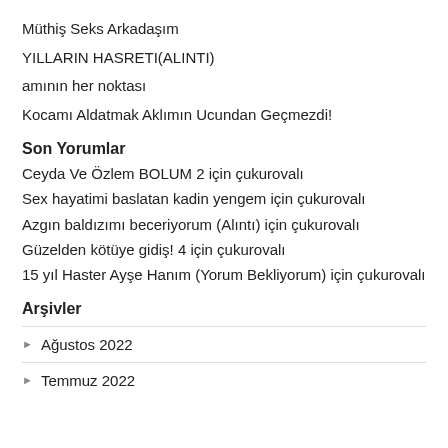Müthiş Seks Arkadaşım
YILLARIN HASRETI(ALINTI)
amının her noktası
Kocamı Aldatmak Aklımın Ucundan Geçmezdi!
Son Yorumlar
Ceyda Ve Özlem BOLUM 2 için çukurovalı
Sex hayatimi baslatan kadin yengem için çukurovalı
Azgın baldızımı beceriyorum (Alıntı) için çukurovalı
Güzelden kötüye gidiş! 4 için çukurovalı
15 yıl Haster Ayşe Hanım (Yorum Bekliyorum) için çukurovalı
Arşivler
Ağustos 2022
Temmuz 2022